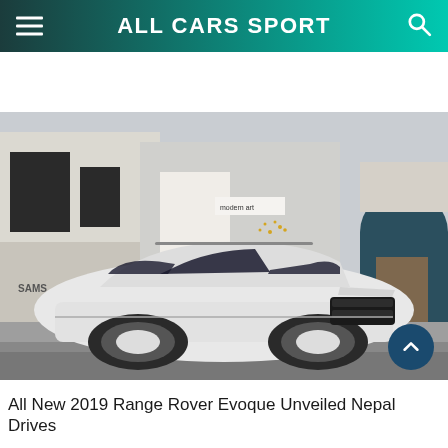ALL CARS SPORT
[Figure (photo): White Range Rover Evoque SUV parked on a city street in front of a modern art gallery and classic stone buildings. The car has a sleek silhouette with large alloy wheels and a panoramic roof.]
All New 2019 Range Rover Evoque Unveiled Nepal Drives